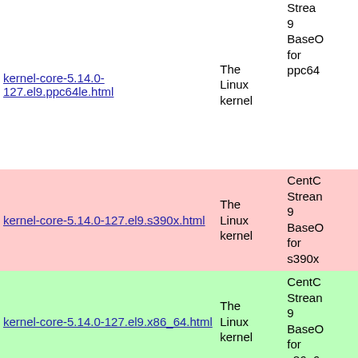| File | Description | Repository |
| --- | --- | --- |
| kernel-core-5.14.0-127.el9.ppc64le.html | The Linux kernel | Stream 9 BaseOS for ppc64... |
| kernel-core-5.14.0-127.el9.s390x.html | The Linux kernel | CentOS Stream 9 BaseOS for s390x... |
| kernel-core-5.14.0-127.el9.x86_64.html | The Linux kernel | CentOS Stream 9 BaseOS for x86_6... |
| kernel-core-5.14.0-124.el9.aarch64.html | The Linux kernel | CentOS Stream 9 BaseOS for aarch... |
|  |  | CentOS Stream... |